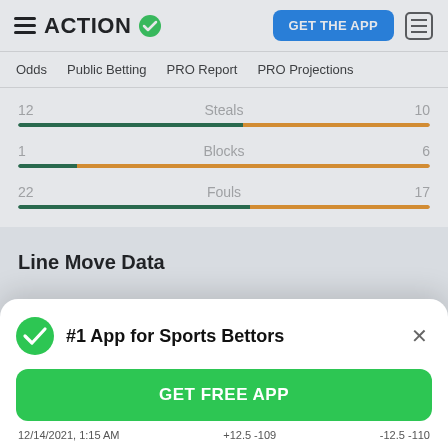ACTION
Odds | Public Betting | PRO Report | PRO Projections
[Figure (infographic): Sports stats comparison bars: Steals 12 vs 10 (green/orange), Blocks 1 vs 6 (green/orange), Fouls 22 vs 17 (green/orange)]
Line Move Data
[Figure (screenshot): Modal popup: #1 App for Sports Bettors with GET FREE APP green button]
12/14/2021, 1:15 AM   +12.5 -109   -12.5 -110